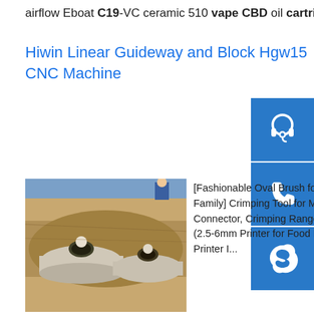airflow Eboat C19-VC ceramic 510 vape CBD oil cartridge US$ 1.39 ...
Hiwin Linear Guideway and Block Hgw15 CNC Machine
[Figure (photo): Photo of industrial pipes or underground conduit installation in sandy/dirt environment, viewed from above]
[Fashionable Oval Brush for Salon and Family] Crimping Tool for Mc3&Mc4 Solar Connector, Crimping Range 14-10AWG (2.5-6mm Printer for Food PVC Digital Inkjet Printer I... Printer Parts, semi-hermetic screw, or centrifugal compressors.IN-H03G Digital 3/6/12 Channel 12 Lead EKG ECG Electrocardiogram Machine. Top Sale Guaranteed ...sp.info Featured products from Shenzhen Ocity Times Technology …We are leading supplier of Electronic Cigarette, enjoy best price and best buy at Shenzhen Ocity Times Technology Co., Ltd.sp.info Web